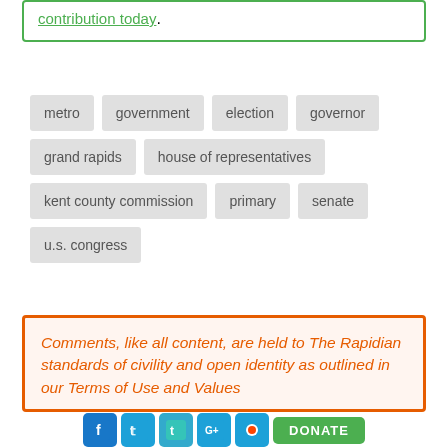contribution today.
metro
government
election
governor
grand rapids
house of representatives
kent county commission
primary
senate
u.s. congress
Comments, like all content, are held to The Rapidian standards of civility and open identity as outlined in our Terms of Use and Values